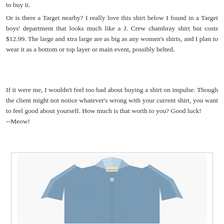to buy it.
Or is there a Target nearby? I really love this shirt below I found in a Target boys' department that looks much like a J. Crew chambray shirt but costs $12.99. The large and xtra large are as big as any women's shirts, and I plan to wear it as a bottom or top layer or main event, possibly belted.
If it were me, I wouldn't feel too bad about buying a shirt on impulse. Though the client might not notice whatever's wrong with your current shirt, you want to feel good about yourself. How much is that worth to you? Good luck!
--Meow!
[Figure (photo): A blue chambray button-up shirt photographed from the front, collar up slightly, with a small label visible at the collar.]